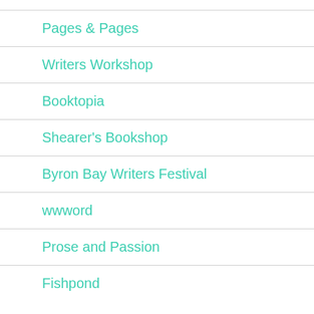Pages & Pages
Writers Workshop
Booktopia
Shearer's Bookshop
Byron Bay Writers Festival
wwword
Prose and Passion
Fishpond